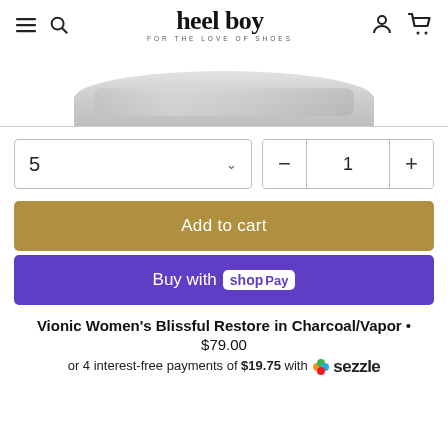heel boy FOR THE LOVE OF SHOES
[Figure (photo): Partial view of a shoe product image at the top of the page]
5  [size dropdown]  −  1  + [quantity control]
Add to cart
Buy with Shop Pay
Vionic Women's Blissful Restore in Charcoal/Vapor • $79.00
or 4 interest-free payments of $19.75 with Sezzle